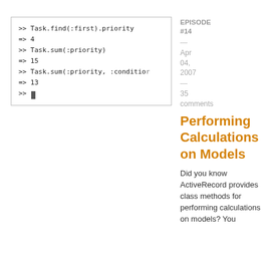[Figure (screenshot): Terminal/console code block showing Ruby ActiveRecord commands and results: >> Task.find(:first).priority => 4 >> Task.sum(:priority) => 15 >> Task.sum(:priority, :condition... => 13 >>]
EPISODE #14
—
Apr 04, 2007
—
35 comments
Performing Calculations on Models
Did you know ActiveRecord provides class methods for performing calculations on models? You